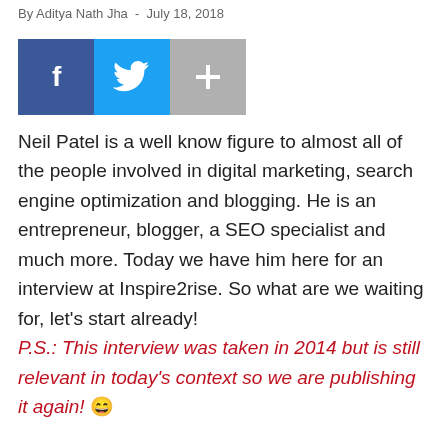By Aditya Nath Jha  -  July 18, 2018
[Figure (other): Social sharing buttons: Facebook (dark blue), Twitter (light blue), and a plus/more button (gray)]
Neil Patel is a well know figure to almost all of the people involved in digital marketing, search engine optimization and blogging. He is an entrepreneur, blogger, a SEO specialist and much more. Today we have him here for an interview at Inspire2rise. So what are we waiting for, let's start already! P.S.: This interview was taken in 2014 but is still relevant in today's context so we are publishing it again! 😀